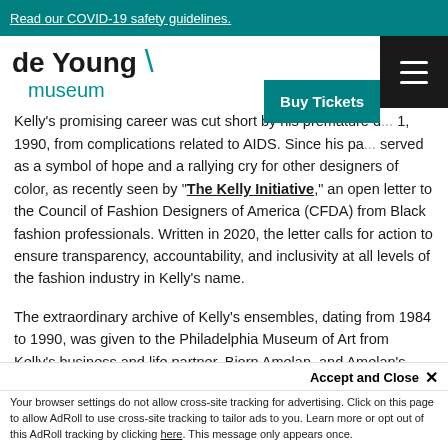Read our COVID-19 safety guidelines.
de Young museum
Kelly's promising career was cut short by his premature d[eath on January] 1, 1990, from complications related to AIDS. Since his pa[ssing, Kelly has] served as a symbol of hope and a rallying cry for other designers of color, as recently seen by "The Kelly Initiative," an open letter to the Council of Fashion Designers of America (CFDA) from Black fashion professionals. Written in 2020, the letter calls for action to ensure transparency, accountability, and inclusivity at all levels of the fashion industry in Kelly's name.
The extraordinary archive of Kelly's ensembles, dating from 1984 to 1990, was given to the Philadelphia Museum of Art from Kelly's business and life partner, Bjorn Amelan, and Amelan's current partner, the dancer and choreographer Bill T. Jones. The Fine Ar[ts...]
Accept and Close ×
Your browser settings do not allow cross-site tracking for advertising. Click on this page to allow AdRoll to use cross-site tracking to tailor ads to you. Learn more or opt out of this AdRoll tracking by clicking here. This message only appears once.